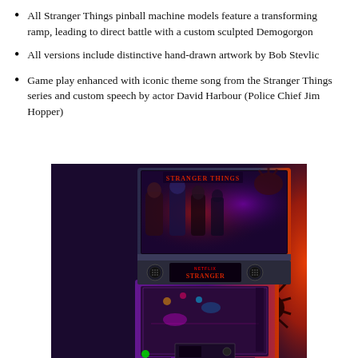All Stranger Things pinball machine models feature a transforming ramp, leading to direct battle with a custom sculpted Demogorgon
All versions include distinctive hand-drawn artwork by Bob Stevlic
Game play enhanced with iconic theme song from the Stranger Things series and custom speech by actor David Harbour (Police Chief Jim Hopper)
[Figure (photo): Photograph of a Stranger Things themed pinball machine showing the backbox with Stranger Things artwork and Netflix branding, and the playfield cabinet with purple/red illuminated artwork featuring a spider-like creature.]